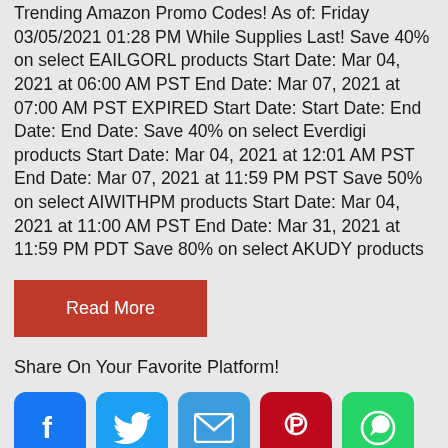Trending Amazon Promo Codes! As of: Friday 03/05/2021 01:28 PM While Supplies Last! Save 40% on select EAILGORL products Start Date: Mar 04, 2021 at 06:00 AM PST End Date: Mar 07, 2021 at 07:00 AM PST EXPIRED Start Date: Start Date: End Date: End Date: Save 40% on select Everdigi products Start Date: Mar 04, 2021 at 12:01 AM PST End Date: Mar 07, 2021 at 11:59 PM PST Save 50% on select AIWITHPM products Start Date: Mar 04, 2021 at 11:00 AM PST End Date: Mar 31, 2021 at 11:59 PM PDT Save 80% on select AKUDY products
[Figure (other): Read More button (red/crimson background, white text)]
Share On Your Favorite Platform!
[Figure (other): Social media icons row: Facebook (blue), Twitter (light blue), Email (blue), Pinterest (red), WhatsApp (green)]